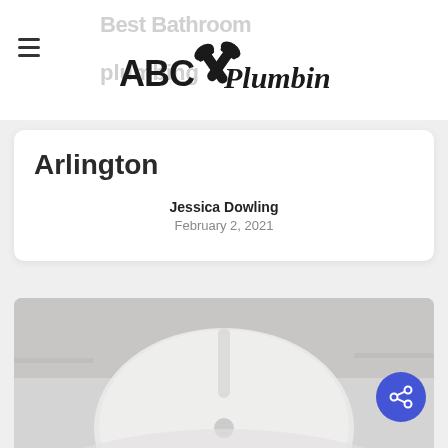ABC Plumbing
Best Bathroom plumbing Arlington
Jessica Dowling
February 2, 2021
[Figure (photo): Photo of plumbing fixture, likely a white toilet or sink fixture close-up, grayish muted tones]
[Figure (other): Blue circular share button with share icon (connected nodes)]